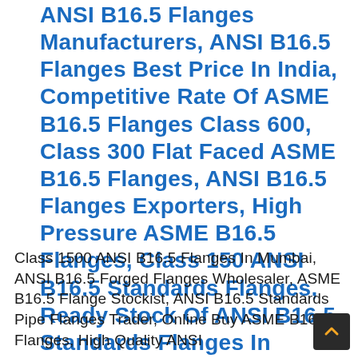ANSI B16.5 Flanges Manufacturers, ANSI B16.5 Flanges Best Price In India, Competitive Rate Of ASME B16.5 Flanges Class 600, Class 300 Flat Faced ASME B16.5 Flanges, ANSI B16.5 Flanges Exporters, High Pressure ASME B16.5 Flanges, Class 150 ANSI B16.5 Standards Flanges, Ready Stock Of ANSI B16.5 Standards Flanges In Mumbai, Standards ASME B16.5 Flanges Suppliers India.
Class 1500 ANSI B16.5 Flanges In Mumbai, ANSI B16.5 Forged Flanges Wholesaler, ASME B16.5 Flange Stockist, ANSI B16.5 Standards Pipe Flanges Trader, Online Buy ASME B16.5 Flanges, High Quality ANSI